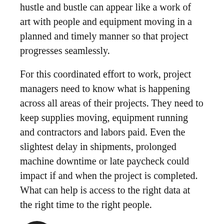hustle and bustle can appear like a work of art with people and equipment moving in a planned and timely manner so that project progresses seamlessly.
For this coordinated effort to work, project managers need to know what is happening across all areas of their projects. They need to keep supplies moving, equipment running and contractors and labors paid. Even the slightest delay in shipments, prolonged machine downtime or late paycheck could impact if and when the project is completed. What can help is access to the right data at the right time to the right people.
Right Data
Information drives decision-making, and having the right information can make a big difference in how effective projects operate. Project managers are